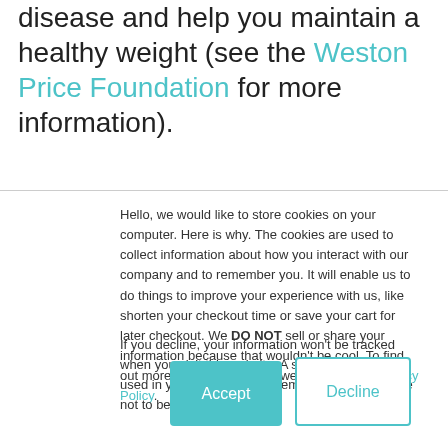disease and help you maintain a healthy weight (see the Weston Price Foundation for more information).
Hello, we would like to store cookies on your computer. Here is why. The cookies are used to collect information about how you interact with our company and to remember you. It will enable us to do things to improve your experience with us, like shorten your checkout time or save your cart for later checkout. We DO NOT sell or share your information because that wouldn't be cool. To find out more about the cookies we use, see our Privacy Policy.
If you decline, your information won't be tracked when you visit this website. A single cookie will be used in your browser to remember your preference not to be tracked.